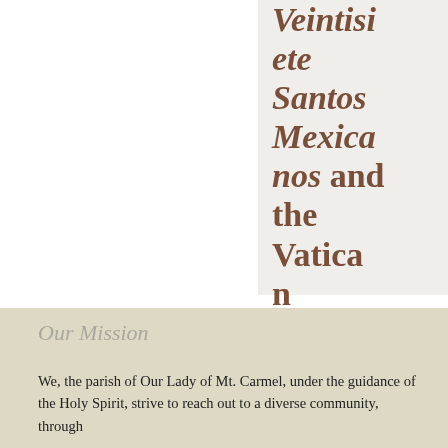Veintisiete Santos Mexicanos and the Vatican Website
Our Mission
We, the parish of Our Lady of Mt. Carmel, under the guidance of the Holy Spirit, strive to reach out to a diverse community, through